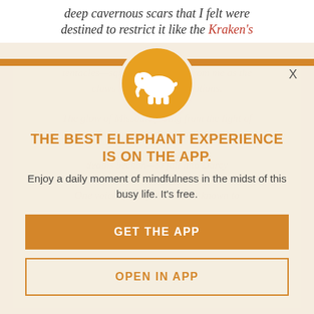deep cavernous scars that I felt were destined to restrict it like the Kraken's
[Figure (logo): White elephant silhouette on an orange/gold circle, serving as app logo]
THE BEST ELEPHANT EXPERIENCE IS ON THE APP.
Enjoy a daily moment of mindfulness in the midst of this busy life. It's free.
GET THE APP
OPEN IN APP